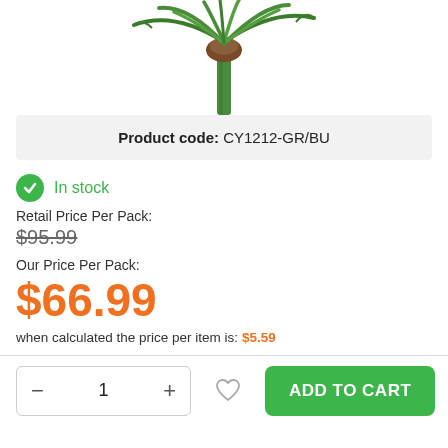[Figure (photo): Top portion of a decorative artificial palm tree product image, showing green fronds and brown trunk top cropped]
Product code: CY1212-GR/BU
In stock
Retail Price Per Pack:
$95.99
Our Price Per Pack:
$66.99
when calculated the price per item is: $5.59